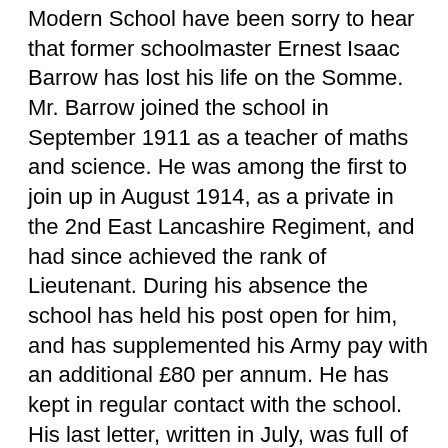Modern School have been sorry to hear that former schoolmaster Ernest Isaac Barrow has lost his life on the Somme. Mr. Barrow joined the school in September 1911 as a teacher of maths and science. He was among the first to join up in August 1914, as a private in the 2nd East Lancashire Regiment, and had since achieved the rank of Lieutenant. During his absence the school has held his post open for him, and has supplemented his Army pay with an additional £80 per annum. He has kept in regular contact with the school. His last letter, written in July, was full of optimism:
“Just at present we are having a slack time, but under present conditions that is not likely to last much longer. We have plenty of men and ammunition to make use of, and I think, this time, we have broken the back of Fritz’s resistance. There is sure to be very hard fighting before he is finally beaten, but we shall soon have him out of his last strongly fortified line, and Heaven help him when we do get him into the open… I was slightly wounded the other day